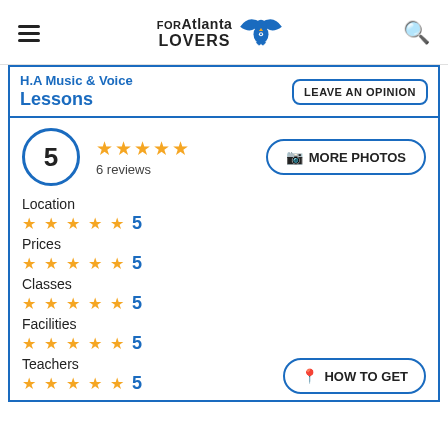FORAtlanta LOVERS
H.A Music & Voice Lessons
LEAVE AN OPINION
5  6 reviews  MORE PHOTOS
Location ★★★★★ 5
Prices ★★★★★ 5
Classes ★★★★★ 5
Facilities ★★★★★ 5
Teachers ★★★★★ 5
HOW TO GET